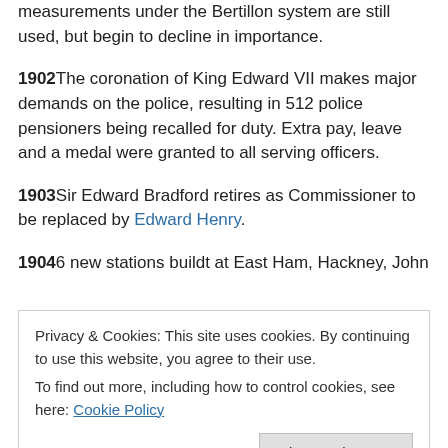measurements under the Bertillon system are still used, but begin to decline in importance.
1902 The coronation of King Edward VII makes major demands on the police, resulting in 512 police pensioners being recalled for duty. Extra pay, leave and a medal were granted to all serving officers.
1903 Sir Edward Bradford retires as Commissioner to be replaced by Edward Henry.
1904 6 new stations buildt at East Ham, Hackney, John
Privacy & Cookies: This site uses cookies. By continuing to use this website, you agree to their use. To find out more, including how to control cookies, see here: Cookie Policy
Close and accept
Hallett of Y Division, who had retired after 26 years as a